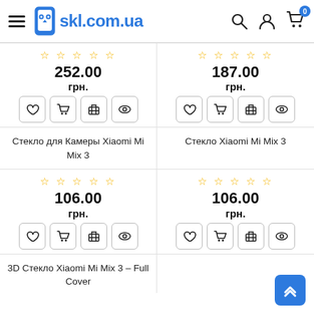skl.com.ua
252.00 грн.
187.00 грн.
Стекло для Камеры Xiaomi Mi Mix 3
Стекло Xiaomi Mi Mix 3
106.00 грн.
106.00 грн.
3D Стекло Xiaomi Mi Mix 3 – Full Cover